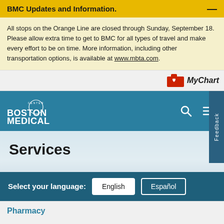BMC Updates and Information.
All stops on the Orange Line are closed through Sunday, September 18. Please allow extra time to get to BMC for all types of travel and make every effort to be on time. More information, including other transportation options, is available at www.mbta.com.
[Figure (logo): MyChart folder icon with heart]
[Figure (logo): Boston Medical Center logo with search and menu icons]
Services
Select your language: English Español
Pharmacy